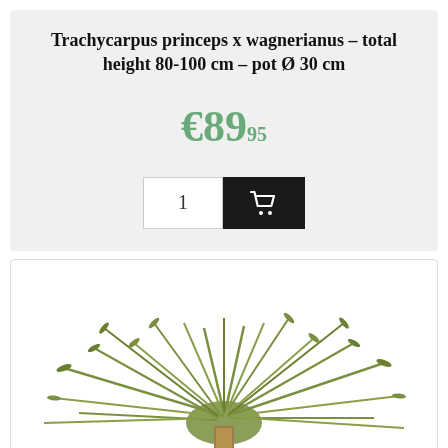Trachycarpus princeps x wagnerianus - total height 80-100 cm - pot Ø 30 cm
€89.95
[Figure (screenshot): Product image of a Trachycarpus palm plant with spiky green fronds, shown from above/side angle, bottom portion of image]